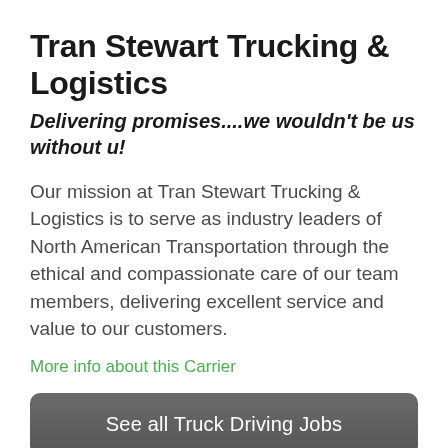Tran Stewart Trucking & Logistics
Delivering promises....we wouldn't be us without u!
Our mission at Tran Stewart Trucking & Logistics is to serve as industry leaders of North American Transportation through the ethical and compassionate care of our team members, delivering excellent service and value to our customers.
More info about this Carrier
See all Truck Driving Jobs